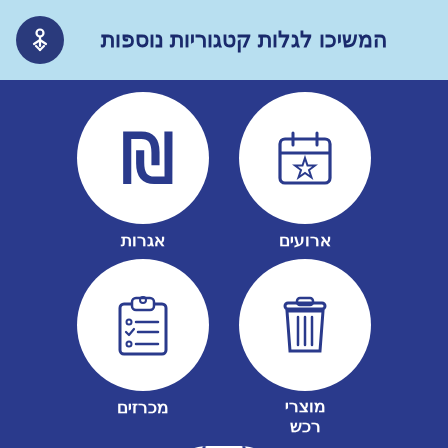המשיכו לגלות קטגוריות נוספות
[Figure (infographic): Four category buttons with icons on dark blue background: אגרות (fees) with shekel symbol, ארועים (events) with calendar and star icon, מכרזים (tenders) with clipboard checklist icon, מוצרי רכש (procurement products) with trash bin icon, and partially visible fifth icon at bottom]
אגרות
ארועים
מכרזים
מוצרי רכש